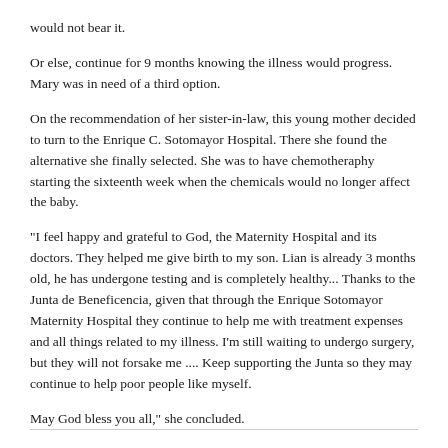would not bear it.
Or else, continue for 9 months knowing the illness would progress. Mary was in need of a third option.
On the recommendation of her sister-in-law, this young mother decided to turn to the Enrique C. Sotomayor Hospital. There she found the alternative she finally selected. She was to have chemotheraphy starting the sixteenth week when the chemicals would no longer affect the baby.
"I feel happy and grateful to God, the Maternity Hospital and its doctors. They helped me give birth to my son. Lian is already 3 months old, he has undergone testing and is completely healthy... Thanks to the Junta de Beneficencia, given that through the Enrique Sotomayor Maternity Hospital they continue to help me with treatment expenses and all things related to my illness. I'm still waiting to undergo surgery, but they will not forsake me .... Keep supporting the Junta so they may continue to help poor people like myself.
May God bless you all," she concluded.